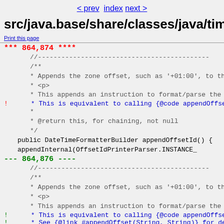< prev  index  next >
src/java.base/share/classes/java/time/forma
Print this page
*** 864,874 ****
//---
    /**
     * Appends the zone offset, such as '+01:00', to th
     * <p>
     * This appends an instruction to format/parse the
   ! * This is equivalent to calling {@code appendOffse
     *
     * @return this, for chaining, not null
     */
    public DateTimeFormatterBuilder appendOffsetId() {
         appendInternal(OffsetIdPrinterParser.INSTANCE_
--- 864,876 ----
//---
    /**
     * Appends the zone offset, such as '+01:00', to th
     * <p>
     * This appends an instruction to format/parse the
   ! * This is equivalent to calling {@code appendOffse
   ! * See {@link #appendOffset(String, String)} for de
   ! * and parsing.